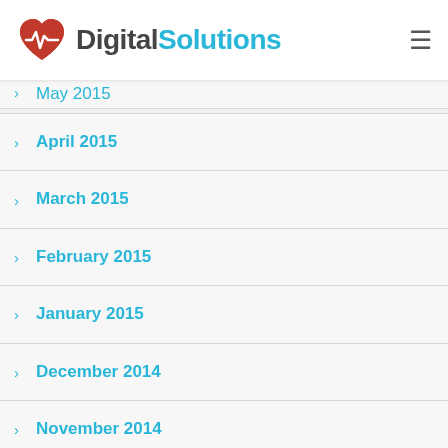Digital Solutions
April 2015
March 2015
February 2015
January 2015
December 2014
November 2014